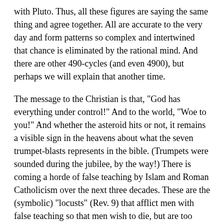with Pluto. Thus, all these figures are saying the same thing and agree together. All are accurate to the very day and form patterns so complex and intertwined that chance is eliminated by the rational mind. And there are other 490-cycles (and even 4900), but perhaps we will explain that another time.
The message to the Christian is that, "God has everything under control!" And to the world, "Woe to you!" And whether the asteroid hits or not, it remains a visible sign in the heavens about what the seven trumpet-blasts represents in the bible. (Trumpets were sounded during the jubilee, by the way!) There is coming a horde of false teaching by Islam and Roman Catholicism over the next three decades. These are the (symbolic) "locusts" (Rev. 9) that afflict men with false teaching so that men wish to die, but are too afraid of after-life consequences to kill themselves. (There are different interpretations of this passage, I know, but